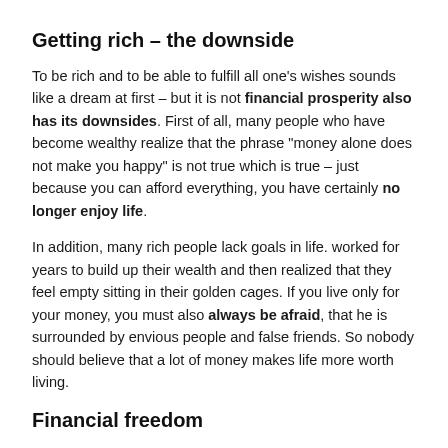Getting rich – the downside
To be rich and to be able to fulfill all one's wishes sounds like a dream at first – but it is not financial prosperity also has its downsides. First of all, many people who have become wealthy realize that the phrase "money alone does not make you happy" is not true which is true – just because you can afford everything, you have certainly no longer enjoy life.
In addition, many rich people lack goals in life. worked for years to build up their wealth and then realized that they feel empty sitting in their golden cages. If you live only for your money, you must also always be afraid, that he is surrounded by envious people and false friends. So nobody should believe that a lot of money makes life more worth living.
Financial freedom
The royal class of wealth is financial freedomWho is